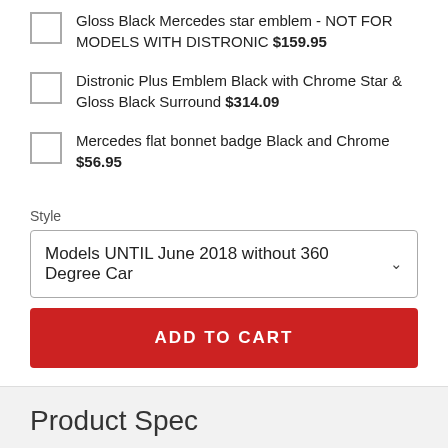Gloss Black Mercedes star emblem - NOT FOR MODELS WITH DISTRONIC $159.95
Distronic Plus Emblem Black with Chrome Star & Gloss Black Surround $314.09
Mercedes flat bonnet badge Black and Chrome $56.95
Style
Models UNTIL June 2018 without 360 Degree Car
ADD TO CART
Product Spec